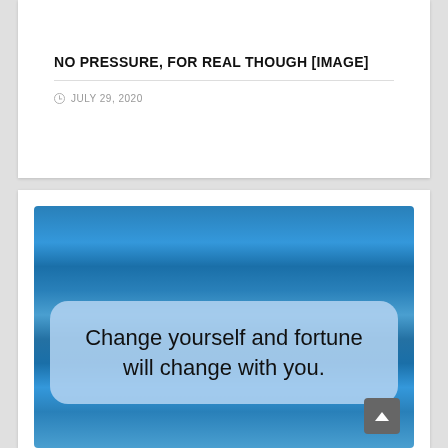NO PRESSURE, FOR REAL THOUGH [IMAGE]
JULY 29, 2020
[Figure (photo): A motivational quote displayed as a text message bubble over a blue textured background. The bubble reads: 'Change yourself and fortune will change with you.']